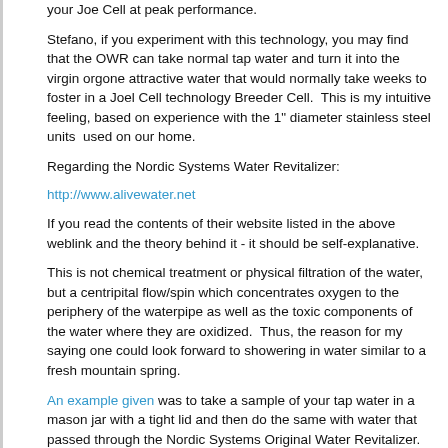your Joe Cell at peak performance.
Stefano, if you experiment with this technology, you may find that the OWR can take normal tap water and turn it into the virgin orgone attractive water that would normally take weeks to foster in a Joel Cell technology Breeder Cell.  This is my intuitive feeling, based on experience with the 1" diameter stainless steel units  used on our home.
Regarding the Nordic Systems Water Revitalizer:
http://www.alivewater.net
If you read the contents of their website listed in the above weblink and the theory behind it - it should be self-explanative.
This is not chemical treatment or physical filtration of the water, but a centripital flow/spin which concentrates oxygen to the periphery of the waterpipe as well as the toxic components of the water where they are oxidized.  Thus, the reason for my saying one could look forward to showering in water similar to a fresh mountain spring.
An example given was to take a sample of your tap water in a mason jar with a tight lid and then do the same with water that passed through the Nordic Systems Original Water Revitalizer. Take 2 eggs, cracking each and adding to the two experimental jars before securely